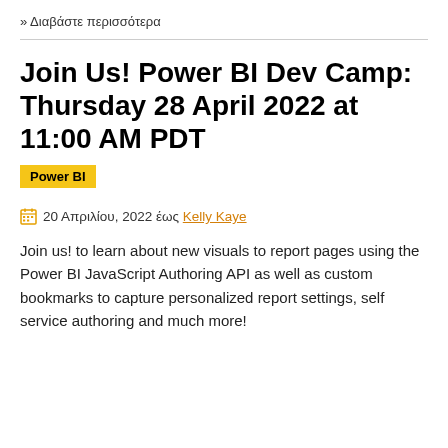» Διαβάστε περισσότερα
Join Us! Power BI Dev Camp: Thursday 28 April 2022 at 11:00 AM PDT
Power BI
20 Απριλίου, 2022 έως Kelly Kaye
Join us! to learn about new visuals to report pages using the Power BI JavaScript Authoring API as well as custom bookmarks to capture personalized report settings, self service authoring and much more!